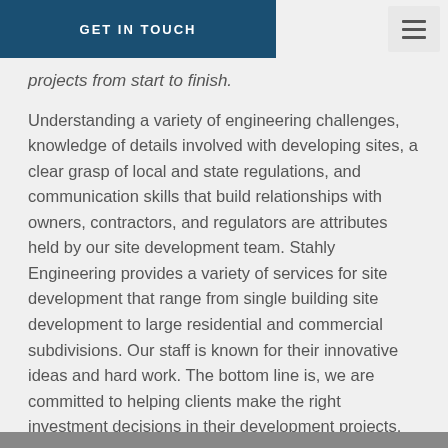GET IN TOUCH
projects from start to finish.
Understanding a variety of engineering challenges, knowledge of details involved with developing sites, a clear grasp of local and state regulations, and communication skills that build relationships with owners, contractors, and regulators are attributes held by our site development team. Stahly Engineering provides a variety of services for site development that range from single building site development to large residential and commercial subdivisions. Our staff is known for their innovative ideas and hard work. The bottom line is, we are committed to helping clients make the right investment decisions in their development projects.